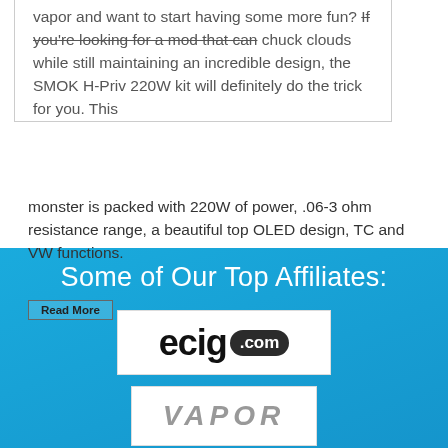vapor and want to start having some more fun? If you're looking for a mod that can chuck clouds while still maintaining an incredible design, the SMOK H-Priv 220W kit will definitely do the trick for you. This monster is packed with 220W of power, .06-3 ohm resistance range, a beautiful top OLED design, TC and VW functions.
Some of Our Top Affiliates:
[Figure (logo): ecig.com logo - black text with rounded .com badge]
[Figure (logo): VAPOR logo - italic metallic grey text]